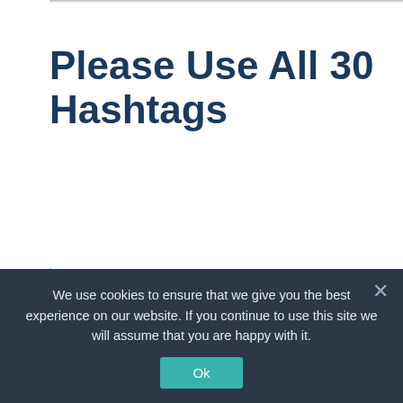Please Use All 30 Hashtags
We are going to gently demand that you greedily take advantage of all thirty hashtags that Instagram allows you for each post. People don't take advantage of this enough. By using all thirty hashtags you raise the chance of people coming to your posts.
Many brands will, confoundingly, only use a
We use cookies to ensure that we give you the best experience on our website. If you continue to use this site we will assume that you are happy with it.